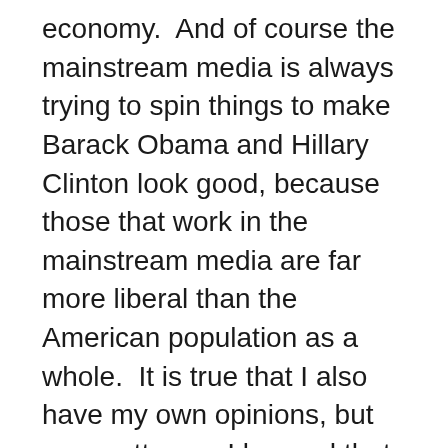economy.  And of course the mainstream media is always trying to spin things to make Barack Obama and Hillary Clinton look good, because those that work in the mainstream media are far more liberal than the American population as a whole.  It is true that I also have my own opinions, but as an attorney I learned that opinions are not any good unless you have facts to back them up.  So please allow me a few moments to share with you evidence that clearly demonstrates that we have already entered a major economic slowdown.  The following are 15 facts about the imploding U.S. economy that the mainstream media doesn't want you to see...
1. Industrial production has now declined for nine months in a row.  We have never seen